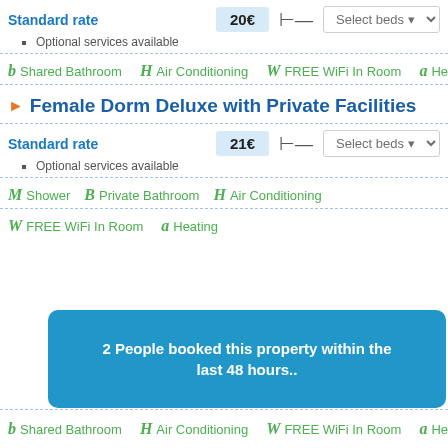Standard rate
Optional services available
b Shared Bathroom  H Air Conditioning  W FREE WiFi In Room  a Heating
Female Dorm Deluxe with Private Facilities
Standard rate
Optional services available
M Shower  B Private Bathroom  H Air Conditioning
W FREE WiFi In Room  a Heating
2 People booked this property within the last 48 hours..
b Shared Bathroom  H Air Conditioning  W FREE WiFi In Room  a Heating